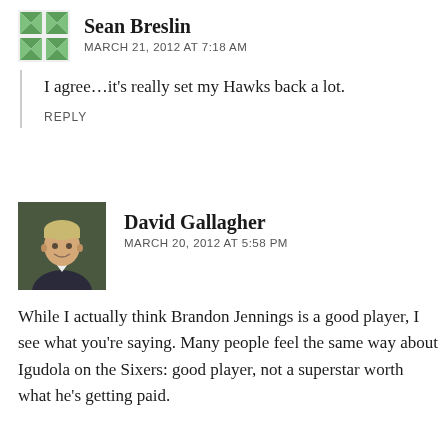[Figure (other): Green geometric avatar icon for Sean Breslin]
Sean Breslin
MARCH 21, 2012 AT 7:18 AM
I agree…it's really set my Hawks back a lot.
REPLY
[Figure (photo): Photo of David Gallagher, young man with blonde hair in suit]
David Gallagher
MARCH 20, 2012 AT 5:58 PM
While I actually think Brandon Jennings is a good player, I see what you're saying. Many people feel the same way about Igudola on the Sixers: good player, not a superstar worth what he's getting paid.